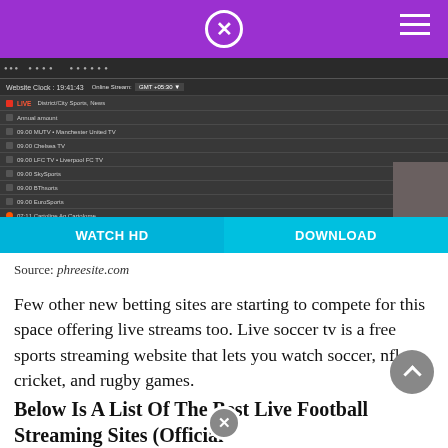Navigation header with purple background, close icon and hamburger menu
[Figure (screenshot): Screenshot of a sports streaming website showing a list of TV channels including Chelsea TV, LFC TV, Sky Sports, etc., with a 'WATCH HD' and 'DOWNLOAD' button overlay at the bottom]
Source: phreesite.com
Few other new betting sites are starting to compete for this space offering live streams too. Live soccer tv is a free sports streaming website that lets you watch soccer, nfl, cricket, and rugby games.
Below Is A List Of The Best Live Football Streaming Sites (Official